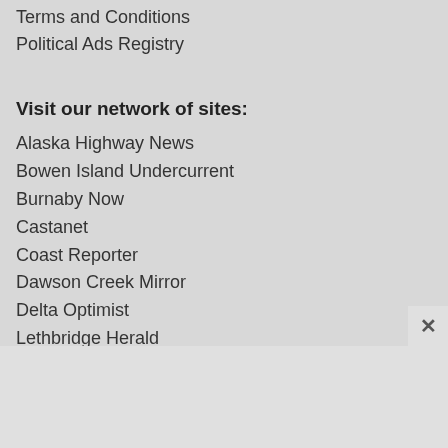Terms and Conditions
Political Ads Registry
Visit our network of sites:
Alaska Highway News
Bowen Island Undercurrent
Burnaby Now
Castanet
Coast Reporter
Dawson Creek Mirror
Delta Optimist
Lethbridge Herald
Medicine Hat News
Moose Jaw Today
New West Record
North Shore News